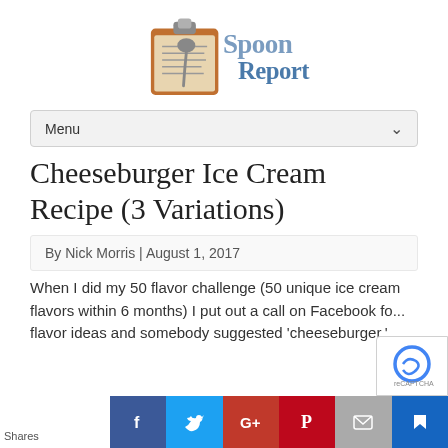Spoon Report
Menu
Cheeseburger Ice Cream Recipe (3 Variations)
By Nick Morris | August 1, 2017
When I did my 50 flavor challenge (50 unique ice cream flavors within 6 months) I put out a call on Facebook fo... flavor ideas and somebody suggested 'cheeseburger.'